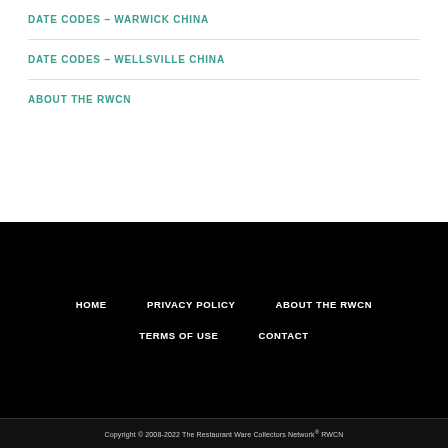DATE CODES – WARWICK CHINA
DATE CODES – WELLSVILLE CHINA
ABOUT THE RWCN
HOME   PRIVACY POLICY   ABOUT THE RWCN   TERMS OF USE   CONTACT
Copyright © 2008-2022 The Restaurant Ware Collectors Network® RWCN